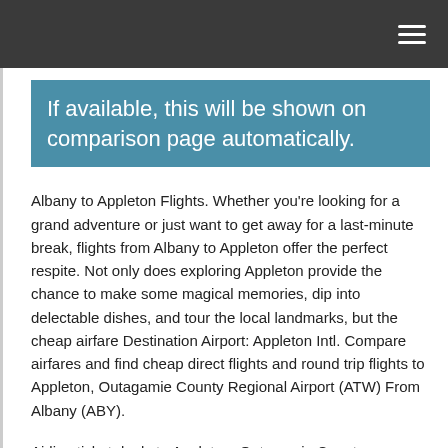If available, this will be shown on comparison page automatically.
Albany to Appleton Flights. Whether you’re looking for a grand adventure or just want to get away for a last-minute break, flights from Albany to Appleton offer the perfect respite. Not only does exploring Appleton provide the chance to make some magical memories, dip into delectable dishes, and tour the local landmarks, but the cheap airfare Destination Airport: Appleton Intl. Compare airfares and find cheap direct flights and round trip flights to Appleton, Outagamie County Regional Airport (ATW) From Albany (ABY).
Airline ticket deals to Appleton, Outagamie County